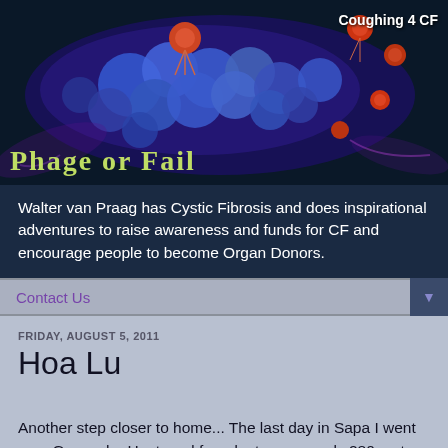[Figure (illustration): Blog header banner with dark blue background showing stylized bacteriophage/virus illustration in blue and orange/red colors. Text 'Coughing 4 CF' in upper right, 'Phage or Fail' in stylized green-yellow font at bottom left.]
Walter van Praag has Cystic Fibrosis and does inspirational adventures to raise awareness and funds for CF and encourage people to become Organ Donors.
Contact Us
FRIDAY, AUGUST 5, 2011
Hoa Lu
Another step closer to home... The last day in Sapa I went on a Geocache Hunt, and found a treasure only 280 meters across from the hotel, but about 300m up the hill. Provided